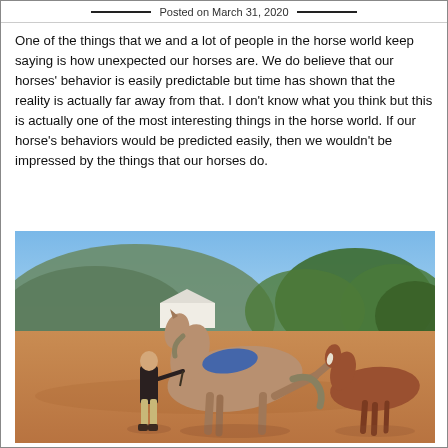Posted on March 31, 2020
One of the things that we and a lot of people in the horse world keep saying is how unexpected our horses are. We do believe that our horses' behavior is easily predictable but time has shown that the reality is actually far away from that. I don't know what you think but this is actually one of the most interesting things in the horse world. If our horse's behaviors would be predicted easily, then we wouldn't be impressed by the things that our horses do.
[Figure (photo): A person standing next to a tan/gray horse with a blue saddle pad in a dusty outdoor paddock. A second brown horse is visible in the background. Green hills and trees are visible in the background under a blue sky.]